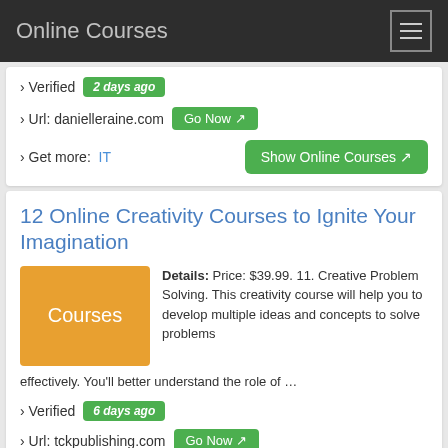Online Courses
› Verified  2 days ago
› Url: danielleraine.com  Go Now
› Get more:  IT    Show Online Courses
12 Online Creativity Courses to Ignite Your Imagination
Details: Price: $39.99. 11. Creative Problem Solving. This creativity course will help you to develop multiple ideas and concepts to solve problems effectively. You'll better understand the role of …
› Verified  6 days ago
› Url: tckpublishing.com  Go Now
› Get more:  IT    Show Online Courses